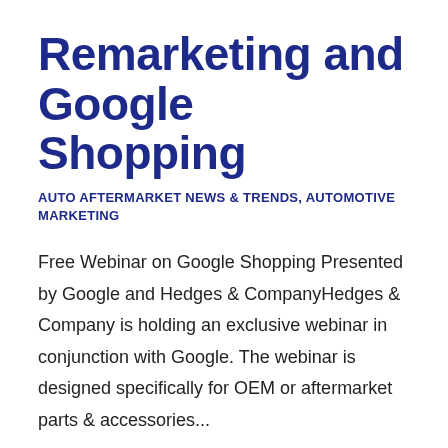Remarketing and Google Shopping
AUTO AFTERMARKET NEWS & TRENDS, AUTOMOTIVE MARKETING
Free Webinar on Google Shopping Presented by Google and Hedges & CompanyHedges & Company is holding an exclusive webinar in conjunction with Google. The webinar is designed specifically for OEM or aftermarket parts & accessories...
September 8, 2017